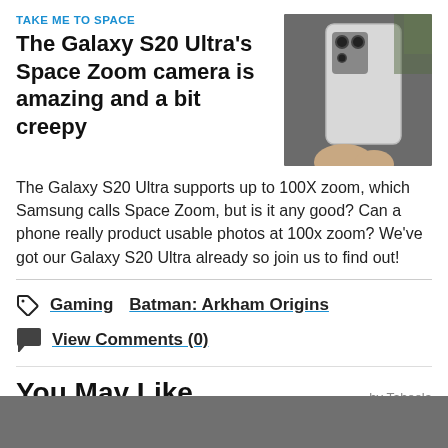TAKE ME TO SPACE
The Galaxy S20 Ultra's Space Zoom camera is amazing and a bit creepy
[Figure (photo): Hand holding a Samsung Galaxy S20 Ultra smartphone showing the camera module]
The Galaxy S20 Ultra supports up to 100X zoom, which Samsung calls Space Zoom, but is it any good? Can a phone really product usable photos at 100x zoom? We've got our Galaxy S20 Ultra already so join us to find out!
Gaming  Batman: Arkham Origins
View Comments (0)
You May Like
by Taboola